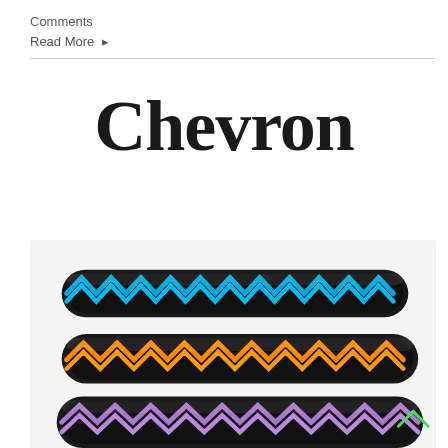Comments
Read More →
Chevron
[Figure (photo): Three stacked chevron pattern loom rubber band bracelets: blue and black on top, orange and black in middle, purple/lavender and black at bottom with green accent, against a white background.]